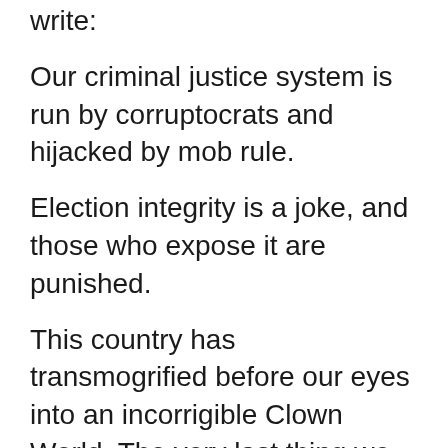write:
Our criminal justice system is run by corruptocrats and hijacked by mob rule.
Election integrity is a joke, and those who expose it are punished.
This country has transmogrified before our eyes into an incorrigible Clown World. The very last thing we need right now is to compound the chaos with the addition of 30,000 Afghan refugees imported through the Special Immigrant Visas program run by the notoriously open-borders, "America Last" U.S. State Department. According to